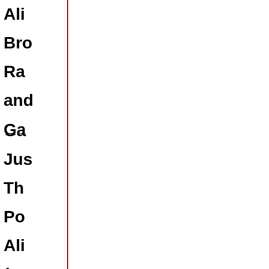Ali
Bro
Ra
and
Ga
Jus
Th
Po
Ali
(po
pu
wit
cho
fea
Co
Jun
Fo
des
Ro